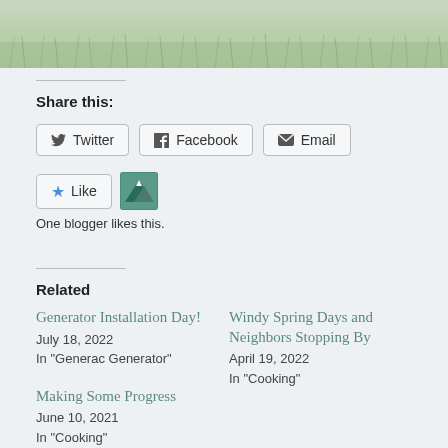[Figure (photo): Grass lawn photo at the top of the page]
Share this:
Twitter | Facebook | Email
Like | [blogger avatar]
One blogger likes this.
Related
Generator Installation Day!
July 18, 2022
In "Generac Generator"
Windy Spring Days and Neighbors Stopping By
April 19, 2022
In "Cooking"
Making Some Progress
June 10, 2021
In "Cooking"